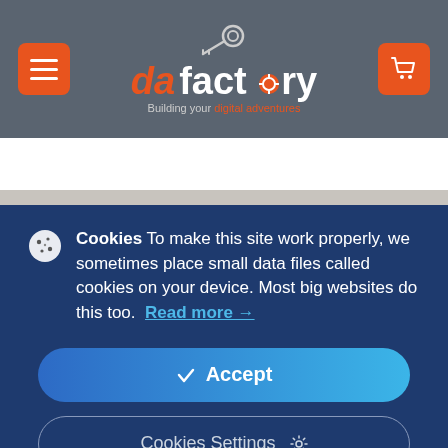[Figure (logo): da factory logo with tagline 'Building your digital adventures', menu button on left, cart button on right, on gray header background]
Cookies To make this site work properly, we sometimes place small data files called cookies on your device. Most big websites do this too. Read more →
✓ Accept
Cookies Settings ⚙